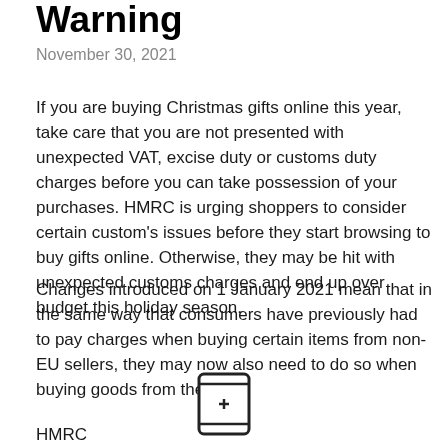Warning
November 30, 2021
If you are buying Christmas gifts online this year, take care that you are not presented with unexpected VAT, excise duty or customs duty charges before you can take possession of your purchases. HMRC is urging shoppers to consider certain custom's issues before they start browsing to buy gifts online. Otherwise, they may be hit with unexpected customs charges and end up over budget this holiday season.
Changes introduced on 1 January 2021 mean that in the same way that consumers have previously had to pay charges when buying certain items from non-EU sellers, they may now also need to do so when buying goods from the EU.
[Figure (illustration): A phone/tablet icon showing a small rectangular device with a plus (+) symbol in the center]
HMRC